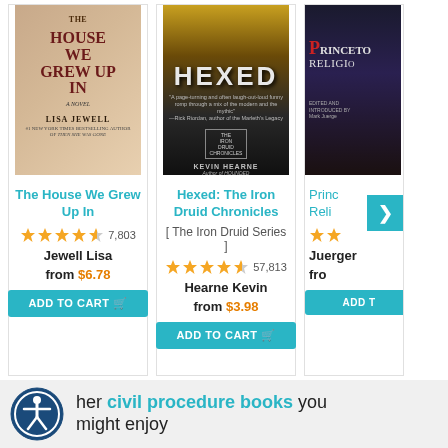[Figure (screenshot): Book listing card: The House We Grew Up In by Lisa Jewell. Book cover image, star rating (4 out of 5, 7,803 reviews), author Jewell Lisa, price from $6.78, Add to Cart button.]
The House We Grew Up In
7,803
Jewell Lisa
from $6.78
ADD TO CART
[Figure (screenshot): Book listing card: Hexed: The Iron Druid Chronicles [The Iron Druid Series] by Hearne Kevin. Book cover image, star rating (4 out of 5, 57,813 reviews), author Hearne Kevin, price from $3.98, Add to Cart button.]
Hexed: The Iron Druid Chronicles
[ The Iron Druid Series ]
57,813
Hearne Kevin
from $3.98
ADD TO CART
[Figure (screenshot): Partially visible book listing card: Princeton Readings in Religion (Juerger...). Partially visible cover, two stars visible, author Juerger..., price from..., ADD T... button. Next arrow overlay.]
Princeton Readings in Religion
Juerger...
fro...
ADD T...
other civil procedure books you might enjoy